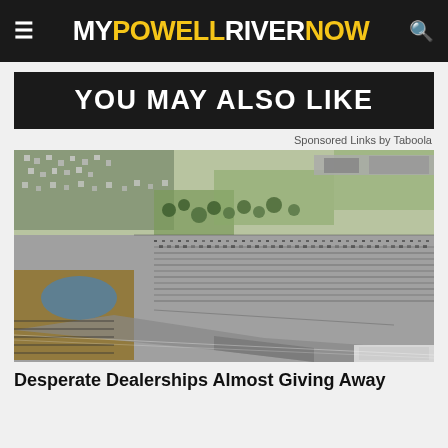MY POWELL RIVER NOW
YOU MAY ALSO LIKE
Sponsored Links by Taboola
[Figure (photo): Aerial photograph of a large car dealership lot with thousands of vehicles parked in rows, surrounded by roads, a small pond, green lawns, and a residential neighborhood in the background.]
Desperate Dealerships Almost Giving Away